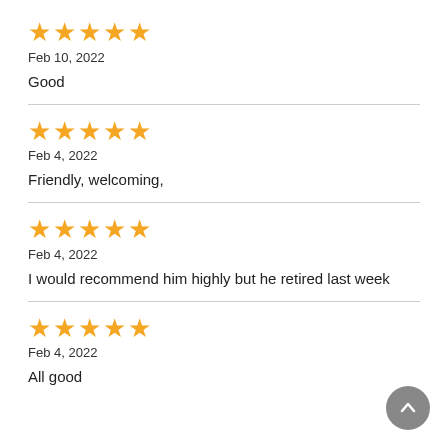[Figure (other): 5-star rating (5 orange stars)]
Feb 10, 2022
Good
[Figure (other): 5-star rating (5 orange stars)]
Feb 4, 2022
Friendly, welcoming,
[Figure (other): 5-star rating (5 orange stars)]
Feb 4, 2022
I would recommend him highly but he retired last week
[Figure (other): 5-star rating (5 orange stars)]
Feb 4, 2022
All good